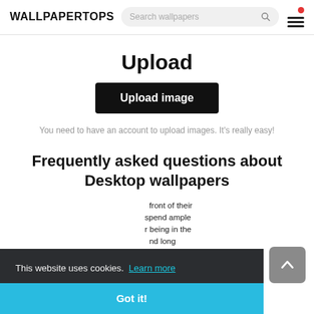WALLPAPERTOPS
Upload
Upload image
You need to have an account to upload images. It's really easy!
Frequently asked questions about Desktop wallpapers
front of their spend ample being in the nd long e net, p
This website uses cookies. Learn more
Got it!
Regardless of whether you run an online business or you just love